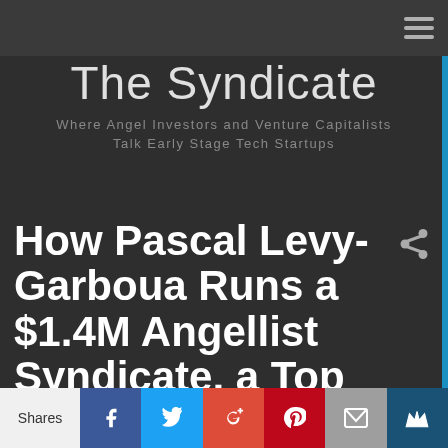The Syndicate
Where Angel Investors and Venture Capitalists Talk Early Stage Tech Startups
How Pascal Levy-Garboua Runs a $1.4M Angellist Syndicate, a Top Tech Startup and an AL Venture Fund All